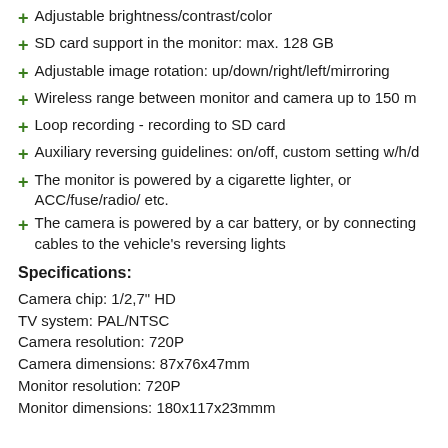Adjustable brightness/contrast/color
SD card support in the monitor: max. 128 GB
Adjustable image rotation: up/down/right/left/mirroring
Wireless range between monitor and camera up to 150 m
Loop recording - recording to SD card
Auxiliary reversing guidelines: on/off, custom setting w/h/d
The monitor is powered by a cigarette lighter, or ACC/fuse/radio/ etc.
The camera is powered by a car battery, or by connecting cables to the vehicle's reversing lights
Specifications:
Camera chip: 1/2,7" HD
TV system: PAL/NTSC
Camera resolution: 720P
Camera dimensions: 87x76x47mm
Monitor resolution: 720P
Monitor dimensions: 180x117x23mmm